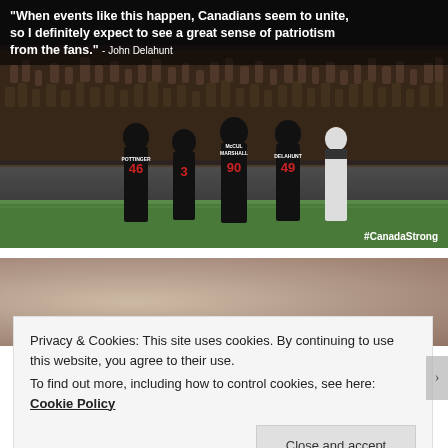[Figure (photo): Football players in black uniforms with red numbers (POTTINGER #46, #3, McCUL, MARSHALL #90, DELAHUNT #49) walking on a field with a large crowd in the background. White quote text overlay at top reads: "When events like this happen, Canadians seem to unite, so I definitely expect to see a great sense of patriotism from the fans." - John Delahunt. #CanadaStrong hashtag in bottom right.]
[Figure (photo): Blurred/partially visible image below the first photo, showing what appears to be people, partially obscured by cookie consent banner.]
Privacy & Cookies: This site uses cookies. By continuing to use this website, you agree to their use.
To find out more, including how to control cookies, see here: Cookie Policy
Close and accept